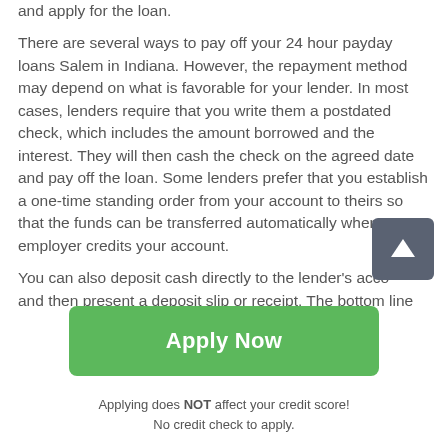and apply for the loan.
There are several ways to pay off your 24 hour payday loans Salem in Indiana. However, the repayment method may depend on what is favorable for your lender. In most cases, lenders require that you write them a postdated check, which includes the amount borrowed and the interest. They will then cash the check on the agreed date and pay off the loan. Some lenders prefer that you establish a one-time standing order from your account to theirs so that the funds can be transferred automatically when your employer credits your account.
You can also deposit cash directly to the lender's acco and then present a deposit slip or receipt. The bottom line
[Figure (other): Green Apply Now button with rounded corners]
Applying does NOT affect your credit score!
No credit check to apply.